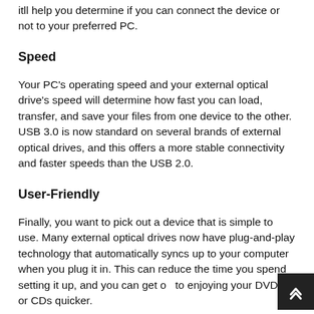itll help you determine if you can connect the device or not to your preferred PC.
Speed
Your PC's operating speed and your external optical drive's speed will determine how fast you can load, transfer, and save your files from one device to the other. USB 3.0 is now standard on several brands of external optical drives, and this offers a more stable connectivity and faster speeds than the USB 2.0.
User-Friendly
Finally, you want to pick out a device that is simple to use. Many external optical drives now have plug-and-play technology that automatically syncs up to your computer when you plug it in. This can reduce the time you spend setting it up, and you can get on to enjoying your DVDs or CDs quicker.